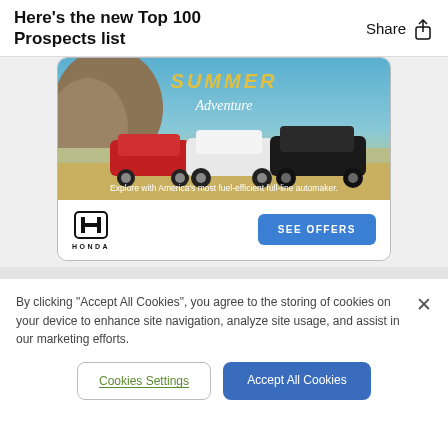Here's the new Top 100 Prospects list
[Figure (photo): Honda advertisement showing three SUVs (red, white, black) on a road with text 'Summer Adventure' and 'Explore with America's most fuel-efficient full-line automaker.' Honda logo and 'SEE OFFERS' button.]
By clicking "Accept All Cookies", you agree to the storing of cookies on your device to enhance site navigation, analyze site usage, and assist in our marketing efforts.
Cookies Settings
Accept All Cookies